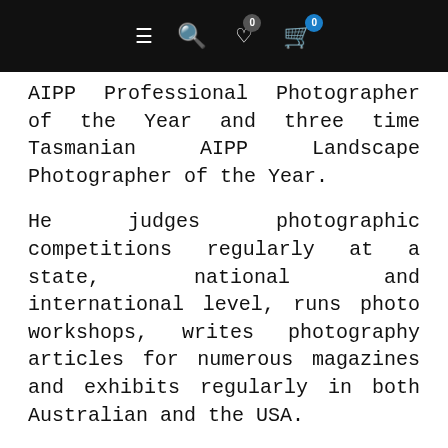Navigation bar with menu, search, wishlist (0), and cart (0)
AIPP Professional Photographer of the Year and three time Tasmanian AIPP Landscape Photographer of the Year.
He judges photographic competitions regularly at a state, national and international level, runs photo workshops, writes photography articles for numerous magazines and exhibits regularly in both Australian and the USA.
THE ART PRINT & FRAMING
One Fine Print art prints are all Pigment on Rag/cotton’ or ‘Giclee Prints’. Our photographs are all printed on high-quality...